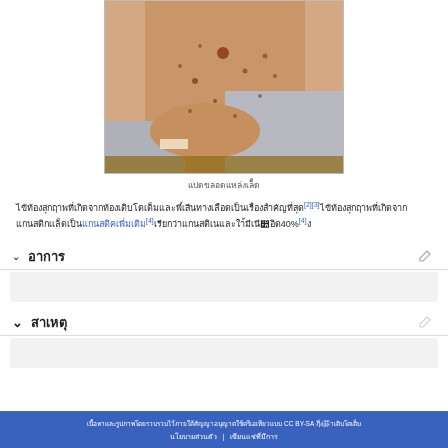[Figure (photo): Clinical photograph of a patient lying down showing skin with multiple lesions/spots on the torso and arm area]
ββββββββββββββββ
βββββββββββββββββββββββββββββββββββββββββββββββββββββββββββββββββββββββββββββββββ[2][3]ββββββββββββββββββββββββββββββββββββββββββββββββ[4]βββββββββββββββββββββ40%[4]β
εε
εεε
βββββββββββββββββββββββββββββββββββββββββββββββββββββββββββββββββββββββββββββββββββββββββββββββββββββββββββββ βββββ | βββββ